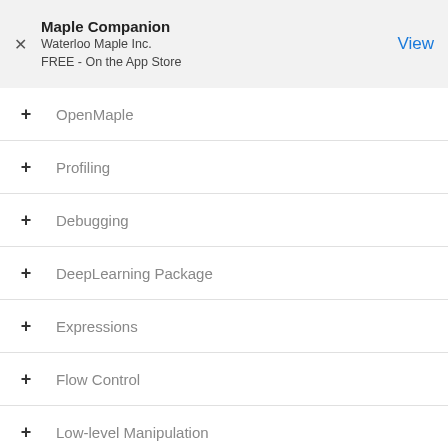Maple Companion
Waterloo Maple Inc.
FREE - On the App Store
+ OpenMaple
+ Profiling
+ Debugging
+ DeepLearning Package
+ Expressions
+ Flow Control
+ Low-level Manipulation
- Resource Management
+ evalhf